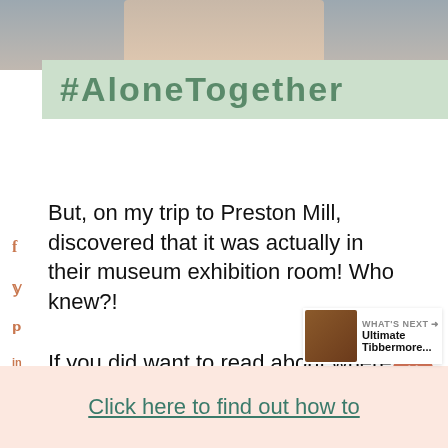[Figure (photo): Top portion of a photo showing two people sitting together, partially cropped]
[Figure (other): Green banner with bold text #AloneTogether and a weather/temperature icon to the right]
But, on my trip to Preston Mill, discovered that it was actually in their museum exhibition room! Who knew?!
If you did want to read about where Cranesmuir was filmed in the series I have a whole guide on Culross here, the palace there and the Back Kirk.
[Figure (other): What's Next panel showing thumbnail image with text: WHAT'S NEXT → Ultimate Tibbermore...]
Click here to find out how to